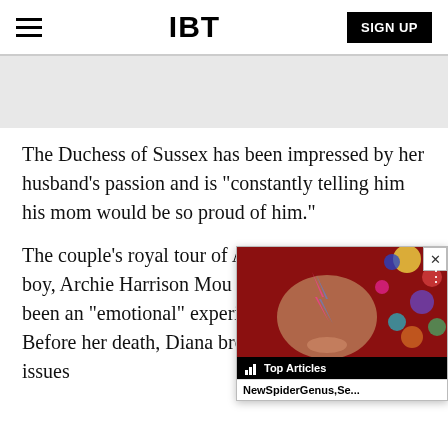IBT | SIGN UP
[Figure (other): Gray advertisement/banner placeholder area]
The Duchess of Sussex has been impressed by her husband’s passion and is “constantly telling him his mom would be so proud of him.”
The couple’s royal tour of A... boy, Archie Harrison Moun... been an “emotional” experience for Prince Harry. Before her death, Diana brought attention to issues
[Figure (other): Video popup overlay with Top Articles bar, NewSpiderGenus,Se... subtitle, and colorful artistic image (David Bowie style with colored dots). Has X close button and three-dots menu.]